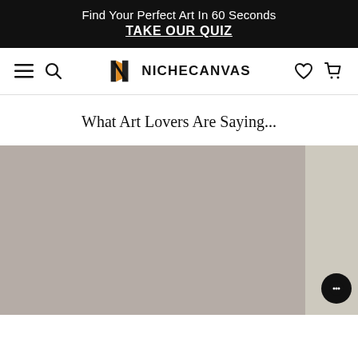Find Your Perfect Art In 60 Seconds
TAKE OUR QUIZ
[Figure (logo): NicheCanvas logo with stylized N icon and NICHECANVAS wordmark, navigation bar with hamburger menu, search icon, heart icon, and cart icon]
What Art Lovers Are Saying...
[Figure (photo): Two partially visible image placeholders with gray/taupe background colors, the left one larger, the right one smaller, with a chat bubble widget in the bottom right corner]